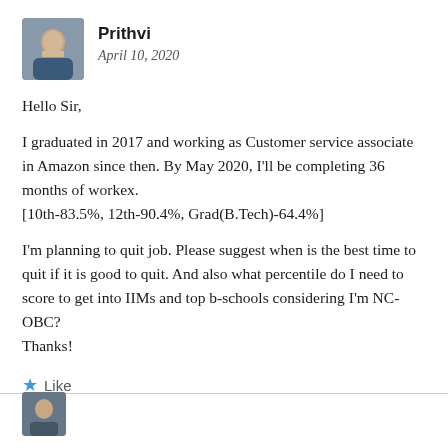[Figure (photo): Avatar photo of Prithvi, a person sitting, wearing a dark shirt]
Prithvi
April 10, 2020
Hello Sir,
I graduated in 2017 and working as Customer service associate in Amazon since then. By May 2020, I'll be completing 36 months of workex.
[10th-83.5%, 12th-90.4%, Grad(B.Tech)-64.4%]
I'm planning to quit job. Please suggest when is the best time to quit if it is good to quit. And also what percentile do I need to score to get into IIMs and top b-schools considering I'm NC-OBC?
Thanks!
★ Like
Reply